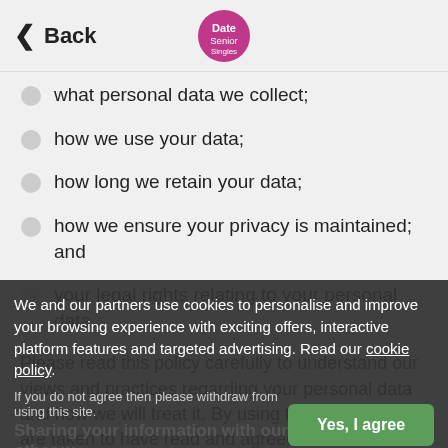Back — Date Senior Singles
what personal data we collect;
how we use your data;
how long we retain your data;
how we ensure your privacy is maintained; and
your legal rights relating to your personal data.
Please read this policy carefully to understand our views and practices regarding your personal data and how we will treat it. By using the Website, you are taken to have read and agreed to the collection, use, disclosure and handling of your personal information
We and our partners use cookies to personalise and improve your browsing experience with exciting offers, interactive platform features and targeted advertising. Read our cookie policy.
If you do not agree then please withdraw from using this site.
Sharing your information with our other w